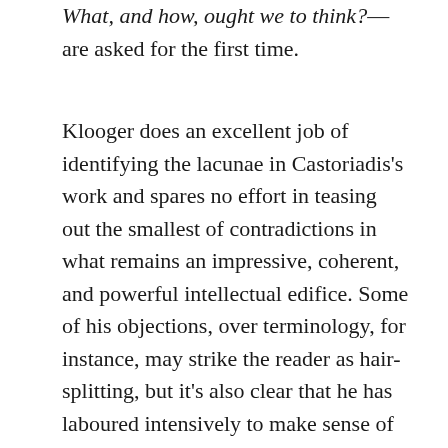What, and how, ought we to think?—are asked for the first time.
Klooger does an excellent job of identifying the lacunae in Castoriadis's work and spares no effort in teasing out the smallest of contradictions in what remains an impressive, coherent, and powerful intellectual edifice. Some of his objections, over terminology, for instance, may strike the reader as hair-splitting, but it's also clear that he has laboured intensively to make sense of Castoriadis's thought and to render it comprehensible for his readers. In his later writings, Castoriadis explored the threats posed to contemporary society by our declining